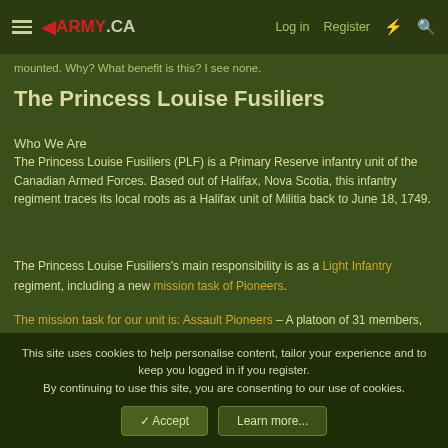◄ARMY.CA  Log in  Register
mounted. Why? What benefit is this? I see none.
The Princess Louise Fusiliers
Who We Are
The Princess Louise Fusiliers (PLF) is a Primary Reserve infantry unit of the Canadian Armed Forces. Based out of Halifax, Nova Scotia, this infantry regiment traces its local roots as a Halifax unit of Militia back to June 18, 1749.
The Princess Louise Fusiliers's main responsibility is as a Light Infantry regiment, including a new mission task of Pioneers.
The mission task for our unit is: Assault Pioneers – A platoon of 31 members, which is trained in the employment of obstacle-
This site uses cookies to help personalise content, tailor your experience and to keep you logged in if you register.
By continuing to use this site, you are consenting to our use of cookies.